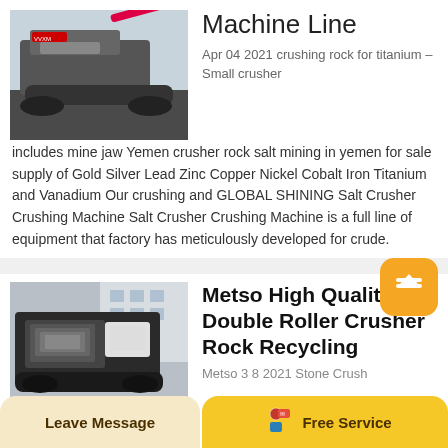[Figure (photo): Photo of a tracked mobile crushing machine on a dark paved surface, viewed from above-left angle]
Machine Line
Apr 04 2021 crushing rock for titanium – Small crusher includes mine jaw Yemen crusher rock salt mining in yemen for sale supply of Gold Silver Lead Zinc Copper Nickel Cobalt Iron Titanium and Vanadium Our crushing and GLOBAL SHINING Salt Crusher Crushing Machine Salt Crusher Crushing Machine is a full line of equipment that factory has meticulously developed for crude.
[Figure (photo): Photo of a large black and grey mobile jaw crusher machine parked near a building]
Metso High Quality Double Roller Crusher Rock Recycling
Metso 3 8 2021 Stone Crush
Leave Message
Free Service